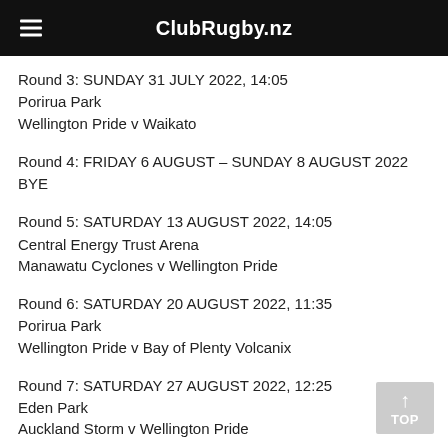ClubRugby.nz
Round 3: SUNDAY 31 JULY 2022, 14:05
Porirua Park
Wellington Pride v Waikato
Round 4: FRIDAY 6 AUGUST – SUNDAY 8 AUGUST 2022
BYE
Round 5: SATURDAY 13 AUGUST 2022, 14:05
Central Energy Trust Arena
Manawatu Cyclones v Wellington Pride
Round 6: SATURDAY 20 AUGUST 2022, 11:35
Porirua Park
Wellington Pride v Bay of Plenty Volcanix
Round 7: SATURDAY 27 AUGUST 2022, 12:25
Eden Park
Auckland Storm v Wellington Pride